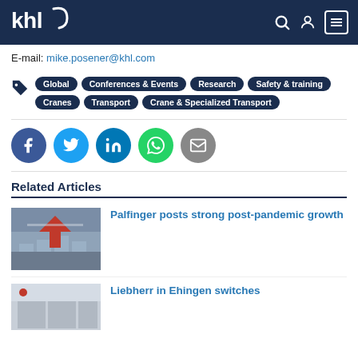khl
E-mail: mike.posener@khl.com
Global  Conferences & Events  Research  Safety & training  Cranes  Transport  Crane & Specialized Transport
[Figure (other): Social share icons: Facebook, Twitter, LinkedIn, WhatsApp, Email]
Related Articles
Palfinger posts strong post-pandemic growth
Liebherr in Ehingen switches